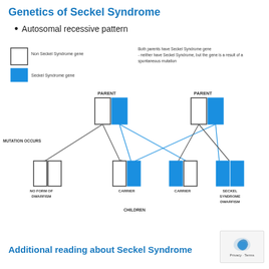Genetics of Seckel Syndrome
Autosomal recessive pattern
[Figure (flowchart): Autosomal recessive inheritance diagram for Seckel Syndrome showing two parents each carrying one Seckel Syndrome gene, with four possible offspring outcomes: No Form of Dwarfism, Carrier, Carrier, and Seckel Syndrome Dwarfism. Legend shows white box = Non Seckel Syndrome gene, blue box = Seckel Syndrome gene. Note states: Both parents have Seckel Syndrome gene - neither have Seckel Syndrome, but the gene is a result of a spontaneous mutation.]
Additional reading about Seckel Syndrome